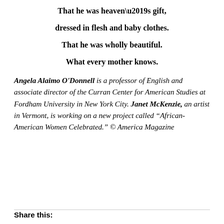That he was heaven’s gift,
dressed in flesh and baby clothes.
That he was wholly beautiful.
What every mother knows.
Angela Alaimo O’Donnell is a professor of English and associate director of the Curran Center for American Studies at Fordham University in New York City. Janet McKenzie, an artist in Vermont, is working on a new project called “African-American Women Celebrated.” © America Magazine
Share this: